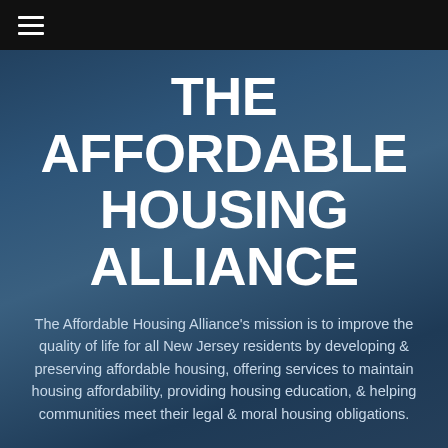☰ (hamburger menu icon)
THE AFFORDABLE HOUSING ALLIANCE
The Affordable Housing Alliance's mission is to improve the quality of life for all New Jersey residents by developing & preserving affordable housing, offering services to maintain housing affordability, providing housing education, & helping communities meet their legal & moral housing obligations.
READ MORE